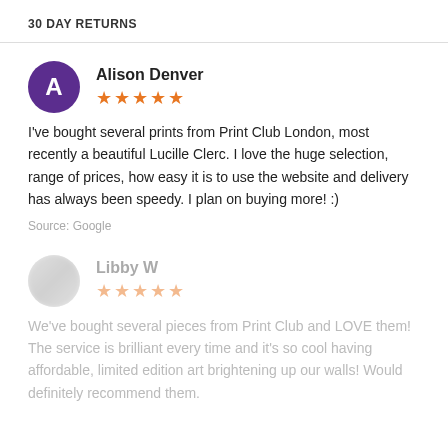30 DAY RETURNS
Alison Denver
[Figure (other): 5 orange stars rating]
I've bought several prints from Print Club London, most recently a beautiful Lucille Clerc. I love the huge selection, range of prices, how easy it is to use the website and delivery has always been speedy. I plan on buying more! :)
Source: Google
Libby W
[Figure (other): 5 orange stars rating (faded)]
We've bought several pieces from Print Club and LOVE them! The service is brilliant every time and it's so cool having affordable, limited edition art brightening up our walls! Would definitely recommend them.